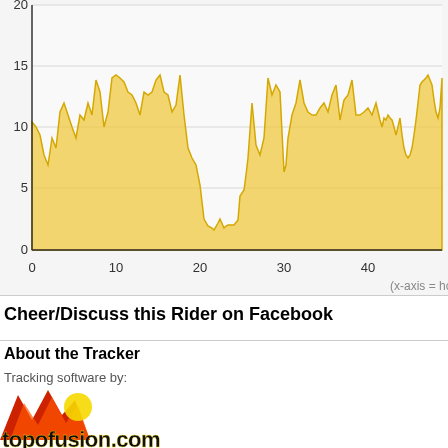[Figure (continuous-plot): Area/line chart showing speed or pace data over approximately 48 hours. Y-axis ranges 0-20, x-axis ranges 0 to ~48 (hours). The fill is golden/amber colored. Data is continuous and dense.]
(x-axis = hours)
Cheer/Discuss this Rider on Facebook
About the Tracker
Tracking software by:
[Figure (logo): topofusion.com logo with red/orange zigzag mountain graphic and bold black/yellow text]